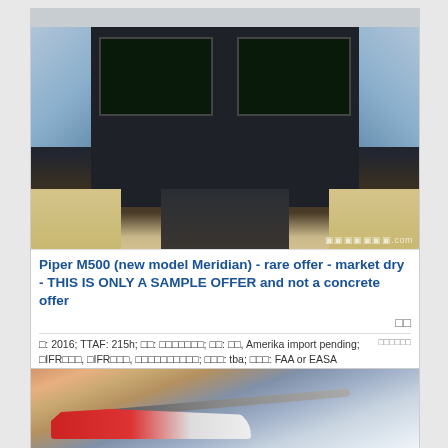[Figure (photo): Aircraft cockpit interior showing dual glass panel avionics displays, center pedestal with throttle controls, and beige leather seats – Piper M500 (Meridian)]
Piper M500 (new model Meridian) - rare offer - market dry - THIS IS ONLY A SAMPLE OFFER and not a concrete offer
B: 2016; TTAF: 215h; BB: BBBBBBB; BB: BB, Amerika import pending; BIFRBBB, BIFRBBB, BBBBBBBBBBB; BBB: tba; BBB: FAA or EASA
[Figure (photo): Aircraft (likely with red livery markings) photographed in flight against a cloudy sky, partial view showing the nose/cockpit area]